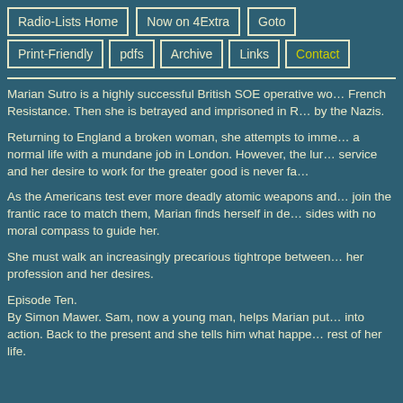Radio-Lists Home | Now on 4Extra | Goto | Print-Friendly | pdfs | Archive | Links | Contact
Marian Sutro is a highly successful British SOE operative wo... French Resistance. Then she is betrayed and imprisoned in R... by the Nazis.
Returning to England a broken woman, she attempts to imme... a normal life with a mundane job in London. However, the lur... service and her desire to work for the greater good is never fa...
As the Americans test ever more deadly atomic weapons and... join the frantic race to match them, Marian finds herself in de... sides with no moral compass to guide her.
She must walk an increasingly precarious tightrope between... her profession and her desires.
Episode Ten.
By Simon Mawer. Sam, now a young man, helps Marian put... into action. Back to the present and she tells him what happe... rest of her life.